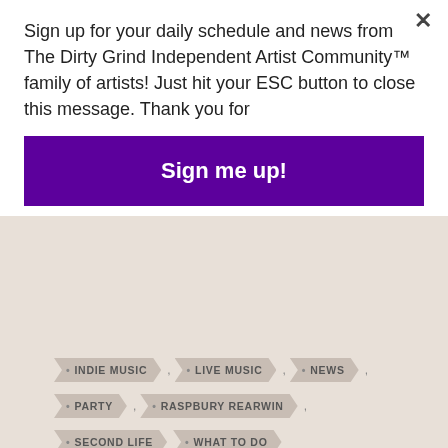Sign up for your daily schedule and news from The Dirty Grind Independent Artist Community™ family of artists! Just hit your ESC button to close this message. Thank you for
Sign me up!
INDIE MUSIC
LIVE MUSIC
NEWS
PARTY
RASPBURY REARWIN
SECOND LIFE
WHAT TO DO
← Thursday December 5th Field Trips!
Saturday December 7th – Carnival of the Arts VI at The Dirty Grind IAC: Day